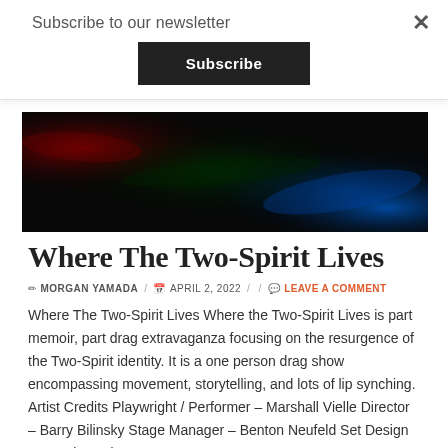Subscribe to our newsletter
Subscribe
[Figure (photo): Abstract dark background image with colorful light streaks in red, green, and blue tones]
Where The Two-Spirit Lives
✏ MORGAN YAMADA / 📅 APRIL 2, 2022 / / 💬 LEAVE A COMMENT
Where The Two-Spirit Lives Where the Two-Spirit Lives is part memoir, part drag extravaganza focusing on the resurgence of the Two-Spirit identity. It is a one person drag show encompassing movement, storytelling, and lots of lip synching. Artist Credits Playwright / Performer – Marshall Vielle Director – Barry Bilinsky Stage Manager – Benton Neufeld Set Design – Deonie Hudson Jensen …